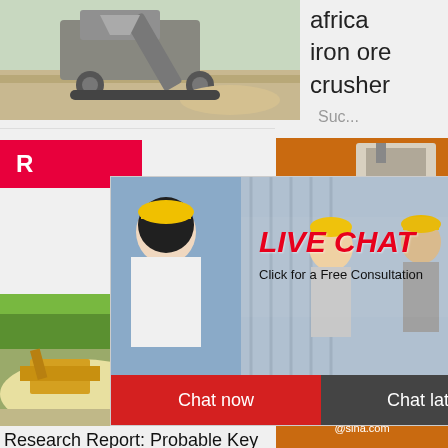[Figure (photo): Mining crusher machine at a quarry site, outdoor setting with earth and sky]
africa iron ore crusher
Suc...
[Figure (photo): Live chat popup overlay with woman and workers in yellow hard hats; bold red italic text LIVE CHAT, subtitle Click for a Free Consultation, Chat now and Chat later buttons]
[Figure (photo): Right sidebar orange panel with crusher machine images, Enjoy 3% discount bar, Click to Chat bar, Enquiry button, and email limingjlmofen@sina.com]
[Figure (photo): Quarry/mining site with sand piles and machinery]
Research Report: Probable Key